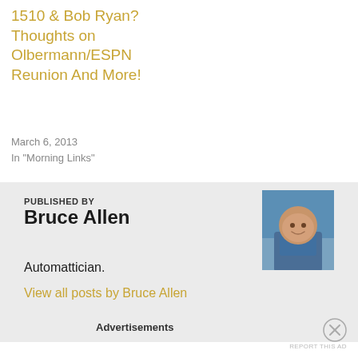1510 & Bob Ryan? Thoughts on Olbermann/ESPN Reunion And More!
March 6, 2013
In "Morning Links"
PUBLISHED BY
Bruce Allen
[Figure (photo): Headshot photo of Bruce Allen smiling, outdoor background with sky]
Automattician.
View all posts by Bruce Allen
Advertisements